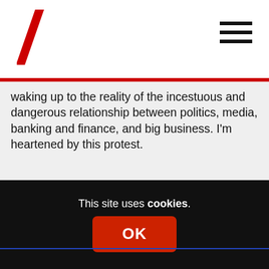Navigation header with logo and hamburger menu
waking up to the reality of the incestuous and dangerous relationship between politics, media, banking and finance, and big business. I'm heartened by this protest.
Reply
McDuff
1st July 2014 at 1:15 pm
I completely agree.
Reply
This site uses cookies.
OK